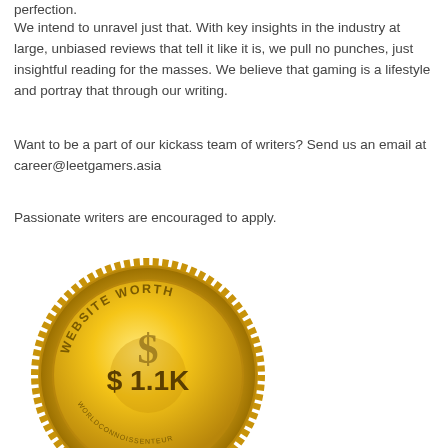perfection.
We intend to unravel just that. With key insights in the industry at large, unbiased reviews that tell it like it is, we pull no punches, just insightful reading for the masses. We believe that gaming is a lifestyle and portray that through our writing.
Want to be a part of our kickass team of writers? Send us an email at career@leetgamers.asia
Passionate writers are encouraged to apply.
[Figure (illustration): Gold circular badge/seal with text 'WEBSITE WORTH' around the top arc and a dollar sign symbol in the center, displaying '$ 1.1K' in bold text, with decorative serrated edges and small text around the bottom arc.]